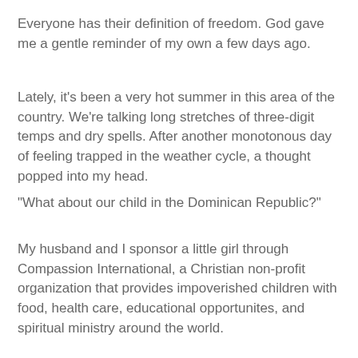Everyone has their definition of freedom. God gave me a gentle reminder of my own a few days ago.
Lately, it's been a very hot summer in this area of the country. We're talking long stretches of three-digit temps and dry spells. After another monotonous day of feeling trapped in the weather cycle, a thought popped into my head.
"What about our child in the Dominican Republic?"
My husband and I sponsor a little girl through Compassion International, a Christian non-profit organization that provides impoverished children with food, health care, educational opportunites, and spiritual ministry around the world.
[Figure (photo): A photo (partially visible, shown as gray box at bottom of page)]
We elected to participate